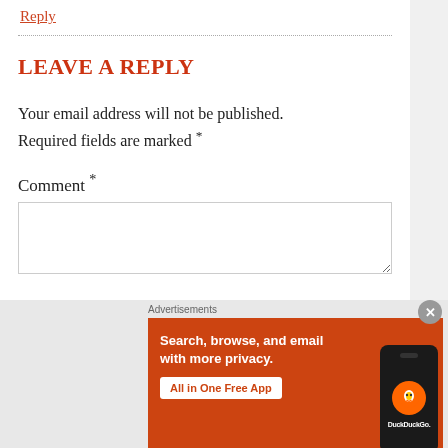Reply
LEAVE A REPLY
Your email address will not be published. Required fields are marked *
Comment *
[Figure (screenshot): DuckDuckGo advertisement banner: orange background with text 'Search, browse, and email with more privacy. All in One Free App' and DuckDuckGo logo on a smartphone]